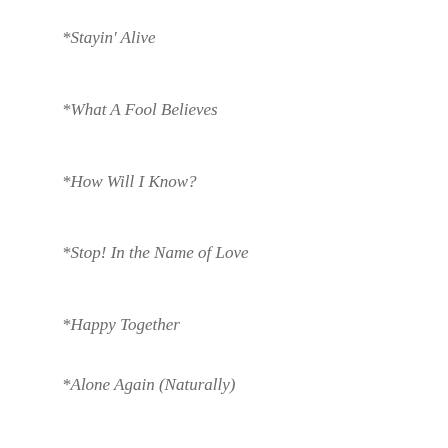*Stayin' Alive
*What A Fool Believes
*How Will I Know?
*Stop! In the Name of Love
*Happy Together
*Alone Again (Naturally)
And Gail's list:
*Livin' on a Prayer